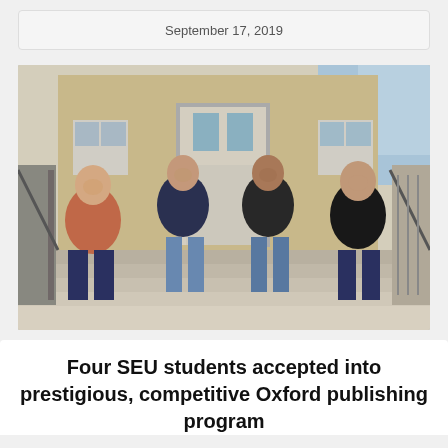September 17, 2019
[Figure (photo): Four female students sitting on outdoor building steps, smiling at the camera. From left: a student in a rust/orange cardigan and jeans, a student in a dark navy top with jeans, a student in a dark cardigan with jeans, and a student in a black v-neck top with jeans. They are seated on concrete steps in front of a brick building with white railings on each side.]
Four SEU students accepted into prestigious, competitive Oxford publishing program